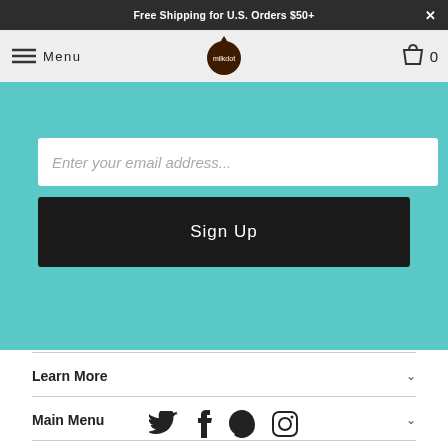Free Shipping for U.S. Orders $50+
Menu | Milkdot logo | 0
Enter your email address...
Sign Up
Learn More
Main Menu
About Milkdot
[Figure (infographic): Social media icons: Twitter, Facebook, Pinterest, Instagram]